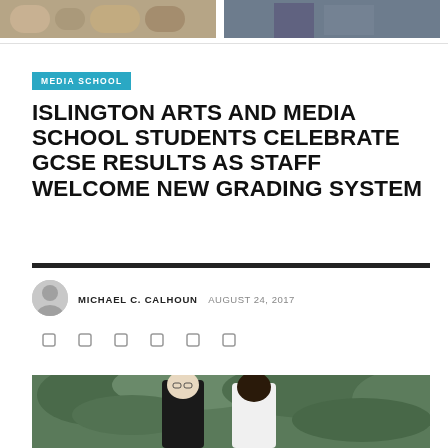[Figure (photo): Two cropped photos side by side at top of page showing students]
MEDIA SCHOOL
ISLINGTON ARTS AND MEDIA SCHOOL STUDENTS CELEBRATE GCSE RESULTS AS STAFF WELCOME NEW GRADING SYSTEM
MICHAEL C. CALHOUN  AUGUST 24, 2017
[Figure (photo): Two students standing outdoors in front of green foliage, one wearing glasses and a dark shirt, one wearing a white shirt]